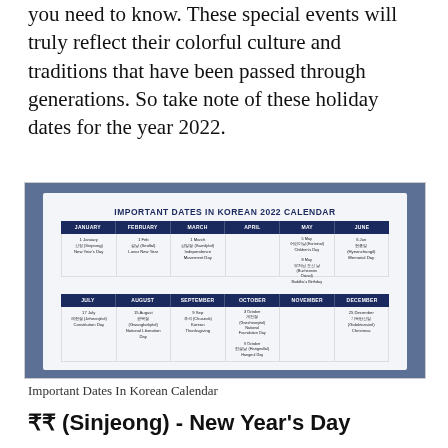you need to know. These special events will truly reflect their colorful culture and traditions that have been passed through generations. So take note of these holiday dates for the year 2022.
[Figure (table-as-image): Important Dates In Korean 2022 Calendar — a table showing Korean public holidays by month (January through December), listing dates and Korean names with English translations for each holiday.]
Important Dates In Korean Calendar
신정 (Sinjeong) - New Year's Day